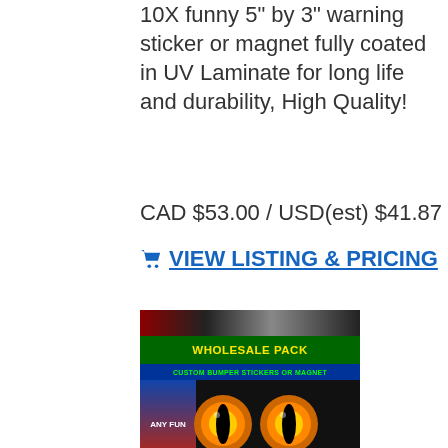10X funny 5" by 3" warning sticker or magnet fully coated in UV Laminate for long life and durability, High Quality!
CAD $53.00 / USD(est) $41.87
🛒 VIEW LISTING & PRICING
[Figure (photo): Product image showing a wholesale pack of custom bumper stickers or magnets. Features yellow glowing cat eyes on black background, text 'WHOLESALE PACK', 'CUSTOM BUMPER STICKERS OR MAGNET', 'DESIGN YOUR OWN', and 'BUMPER STICKER OR BUMPER MAGNET']
SKU: X-737708884
10X Wholesale Pack ANY 10 x 3 Bumper Sticker or Magnetic Bumper Sticker or customize